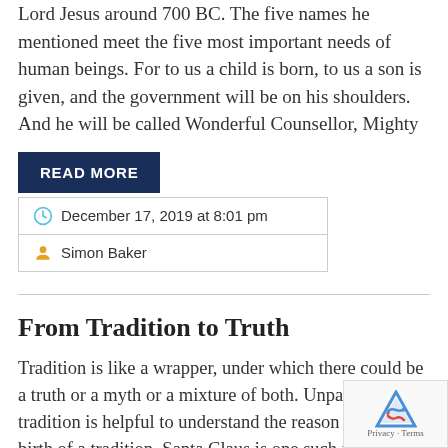Lord Jesus around 700 BC. The five names he mentioned meet the five most important needs of human beings. For to us a child is born, to us a son is given, and the government will be on his shoulders. And he will be called Wonderful Counsellor, Mighty
READ MORE
December 17, 2019 at 8:01 pm
Simon Baker
From Tradition to Truth
Tradition is like a wrapper, under which there could be a truth or a myth or a mixture of both. Unpacking tradition is helpful to understand the reason for the birth of a tradition. Santa Claus is one such tradition. St. Nicholas is believed to be a monk born